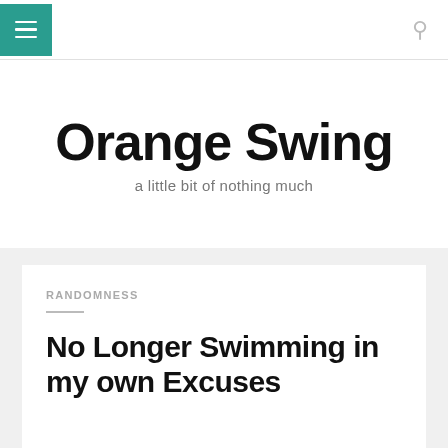Orange Swing
a little bit of nothing much
RANDOMNESS
No Longer Swimming in my own Excuses